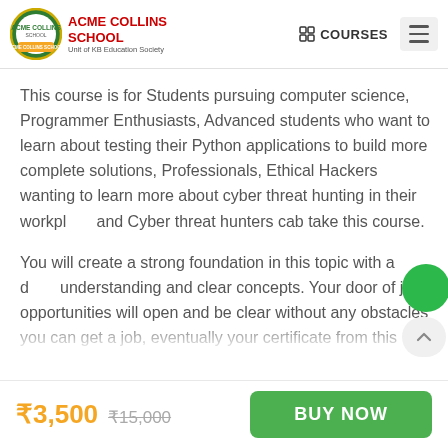[Figure (logo): Acme Collins School logo — circular emblem with school name and tagline]
ACME COLLINS SCHOOL Unit of KB Education Society | COURSES
This course is for Students pursuing computer science, Programmer Enthusiasts, Advanced students who want to learn about testing their Python applications to build more complete solutions, Professionals, Ethical Hackers wanting to learn more about cyber threat hunting in their workplace and Cyber threat hunters cab take this course.
You will create a strong foundation in this topic with a deep understanding and clear concepts. Your door of job opportunities will open and be clear without any obstacles you can get a job, eventually your certificate from this
₹3,500  ₹15,000  BUY NOW